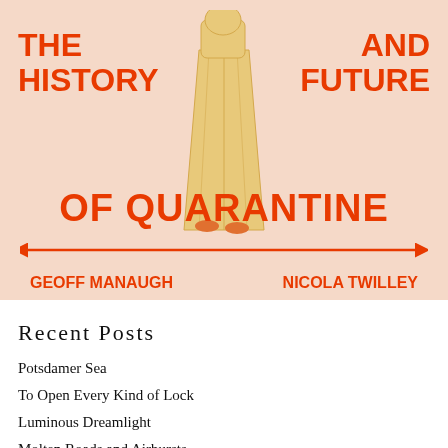[Figure (illustration): Book cover for 'The History and Future of Quarantine' by Geoff Manaugh and Nicola Twilley. Peach/salmon background with bold orange-red text. Center illustration shows a robed figure standing. A horizontal double-headed arrow spans the cover width. Authors' names appear at the bottom.]
Recent Posts
Potsdamer Sea
To Open Every Kind of Lock
Luminous Dreamlight
Molten Roads and Airbursts